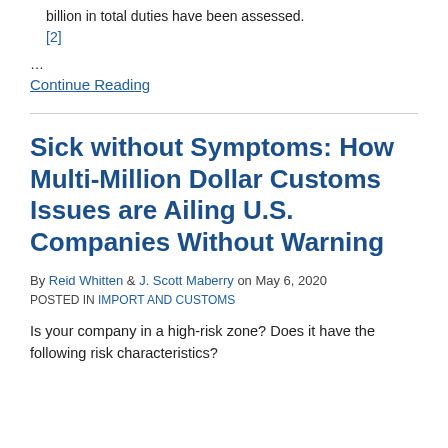billion in total duties have been assessed. [2]
…
Continue Reading
Sick without Symptoms: How Multi-Million Dollar Customs Issues are Ailing U.S. Companies Without Warning
By Reid Whitten & J. Scott Maberry on May 6, 2020
POSTED IN IMPORT AND CUSTOMS
Is your company in a high-risk zone? Does it have the following risk characteristics?